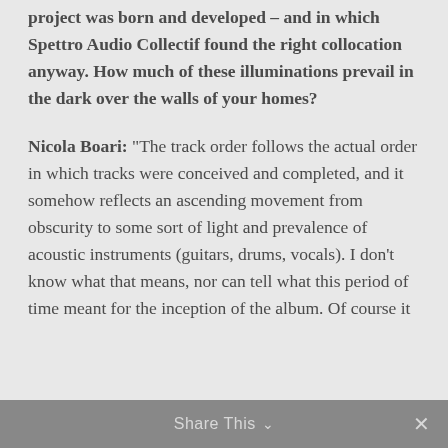project was born and developed – and in which Spettro Audio Collectif found the right collocation anyway. How much of these illuminations prevail in the dark over the walls of your homes?
Nicola Boari: "The track order follows the actual order in which tracks were conceived and completed, and it somehow reflects an ascending movement from obscurity to some sort of light and prevalence of acoustic instruments (guitars, drums, vocals). I don't know what that means, nor can tell what this period of time meant for the inception of the album. Of course it
Share This ∨  ✕